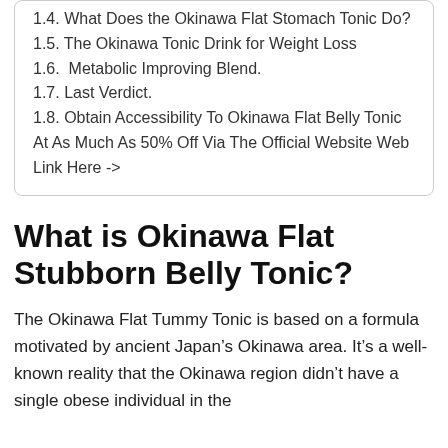1.4. What Does the Okinawa Flat Stomach Tonic Do?
1.5. The Okinawa Tonic Drink for Weight Loss
1.6.  Metabolic Improving Blend.
1.7. Last Verdict.
1.8. Obtain Accessibility To Okinawa Flat Belly Tonic At As Much As 50% Off Via The Official Website Web Link Here ->
What is Okinawa Flat Stubborn Belly Tonic?
The Okinawa Flat Tummy Tonic is based on a formula motivated by ancient Japan’s Okinawa area. It’s a well-known reality that the Okinawa region didn’t have a single obese individual in the